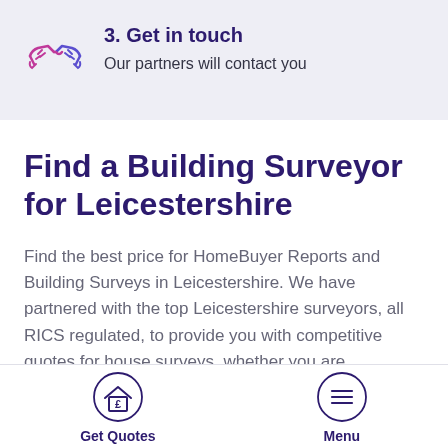[Figure (illustration): Handshake icon in pink/purple outline style inside a light grey-blue banner section]
3. Get in touch
Our partners will contact you
Find a Building Surveyor for Leicestershire
Find the best price for HomeBuyer Reports and Building Surveys in Leicestershire. We have partnered with the top Leicestershire surveyors, all RICS regulated, to provide you with competitive quotes for house surveys, whether you are
[Figure (illustration): House with pound sign icon in a circle, labeled Get Quotes]
[Figure (illustration): Hamburger menu icon in a circle, labeled Menu]